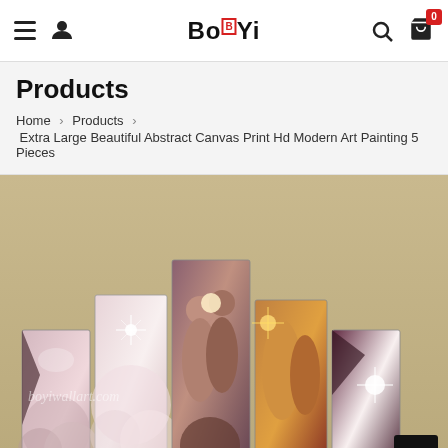BöYi — navigation header with hamburger menu, user icon, logo, search, and cart (0 items)
Products
Home > Products > Extra Large Beautiful Abstract Canvas Print Hd Modern Art Painting 5 Pieces
[Figure (photo): Product photo showing 5-panel abstract canvas wall art painting featuring kissing couple figures in rose-gold and bronze tones against a beige/tan background, with boyiwallart.com watermarks]